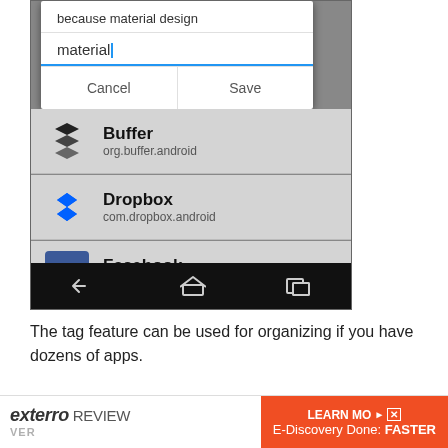[Figure (screenshot): Android smartphone screenshot showing a dialog box with 'because material design' text, a text input field with 'material' typed and cursor, Cancel and Save buttons, and a list of apps: Buffer (org.buffer.android), Dropbox (com.dropbox.android), Facebook (com.facebook.katana), with a black navigation bar at the bottom.]
The tag feature can be used for organizing if you have dozens of apps.
[Figure (screenshot): Advertisement banner: exterro REVIEW with orange box 'LEARN MORE' and text 'E-Discovery Done: FASTER']